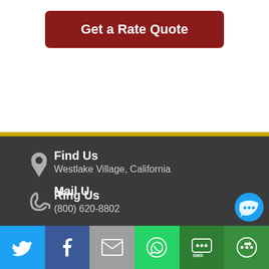Get a Rate Quote
Find Us
Westlake Village, California
Ring Us
(800) 620-8802
Mail U…
Twitter | Facebook | Email | WhatsApp | SMS | More